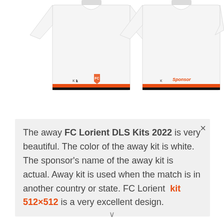[Figure (illustration): Two white FC Lorient football kit jerseys side by side. Left jersey shows Kappa logo and FC Lorient orange shield badge with a black and orange horizontal stripe at the bottom. Right jersey shows Kappa logo and an orange sponsor text with black and orange horizontal stripe at the bottom.]
The away FC Lorient DLS Kits 2022 is very beautiful. The color of the away kit is white. The sponsor's name of the away kit is actual. Away kit is used when the match is in another country or state. FC Lorient  kit 512×512 is a very excellent design.